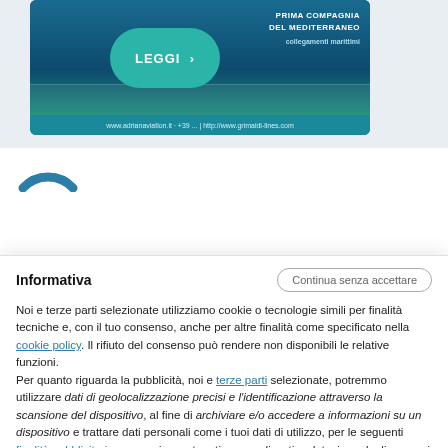[Figure (screenshot): Ship banner advertisement for a Mediterranean maritime company with 'LEGGI >' button in a teal pill shape, 'PRIMA COMPAGNIA DEL MEDITERRANEO' text, and a blue bottom bar with URL.]
[Figure (logo): Partial circular logo arc in blue, partially visible at top-left of cookie banner.]
Informativa
Continua senza accettare
Noi e terze parti selezionate utilizziamo cookie o tecnologie simili per finalità tecniche e, con il tuo consenso, anche per altre finalità come specificato nella cookie policy. Il rifiuto del consenso può rendere non disponibili le relative funzioni.
Per quanto riguarda la pubblicità, noi e terze parti selezionate, potremmo utilizzare dati di geolocalizzazione precisi e l'identificazione attraverso la scansione del dispositivo, al fine di archiviare e/o accedere a informazioni su un dispositivo e trattare dati personali come i tuoi dati di utilizzo, per le seguenti finalità pubblicitarie: annunci e contenuti personalizzati, valutazione degli annunci e del contenuto, osservazioni del pubblico e sviluppo di prodotti. Puoi liberamente prestare, rifiutare o revocare il tuo consenso, in qualsiasi
Accetta
Scegli e personalizza